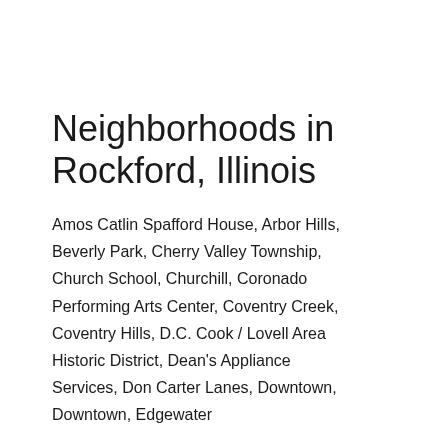Neighborhoods in Rockford, Illinois
Amos Catlin Spafford House, Arbor Hills, Beverly Park, Cherry Valley Township, Church School, Churchill, Coronado Performing Arts Center, Coventry Creek, Coventry Hills, D.C. Cook / Lovell Area Historic District, Dean's Appliance Services, Don Carter Lanes, Downtown, Downtown, Edgewater